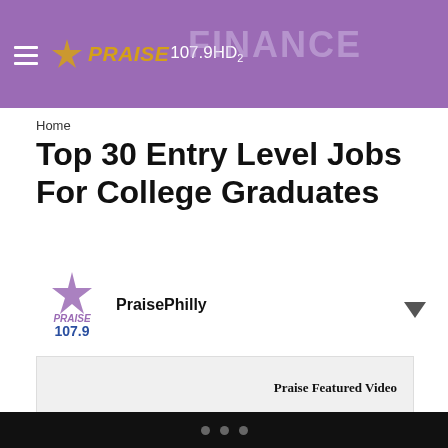PRAISE 107.9HD2 | FINANCE
Home
Top 30 Entry Level Jobs For College Graduates
PraisePhilly
[Figure (other): Praise 107.9 radio station logo with purple star and blue number text]
[Figure (other): Praise Featured Video embed box, grey background]
If you’re a recent college graduate trying to find an entry level job, it can be a rough and tough world out there in the job market. Luckily, we’ve rounded up some of the best entry level jobs out there that are perfect for college grads looking to get